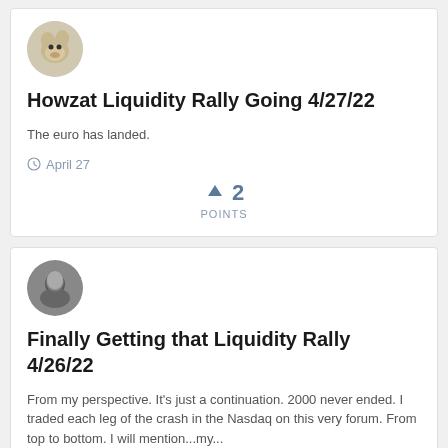[Figure (photo): User avatar: circular photo of a dog (light-colored)]
Howzat Liquidity Rally Going 4/27/22
The euro has landed.
April 27
↑ 2
POINTS
[Figure (photo): User avatar: circular black-and-white photo of a person]
Finally Getting that Liquidity Rally 4/26/22
From my perspective. It's just a continuation. 2000 never ended. I traded each leg of the crash in the Nasdaq on this very forum. From top to bottom. I will mention...my...